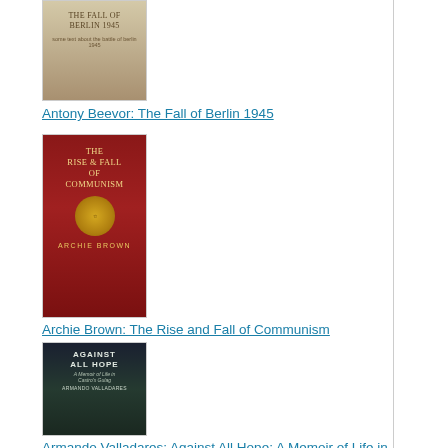[Figure (illustration): Book cover: The Fall of Berlin 1945 by Antony Beevor - beige/tan colored cover]
Antony Beevor: The Fall of Berlin 1945
[Figure (illustration): Book cover: The Rise and Fall of Communism by Archie Brown - red cover with Soviet emblem]
Archie Brown: The Rise and Fall of Communism
[Figure (illustration): Book cover: Against All Hope: A Memoir of Life in Castro's Gulag by Armando Valladares - dark cover with eye image]
Armando Valladares: Against All Hope: A Memoir of Life in Castro's Gulag
[Figure (illustration): Partial book cover visible at bottom: The End of... - light colored cover with red text]